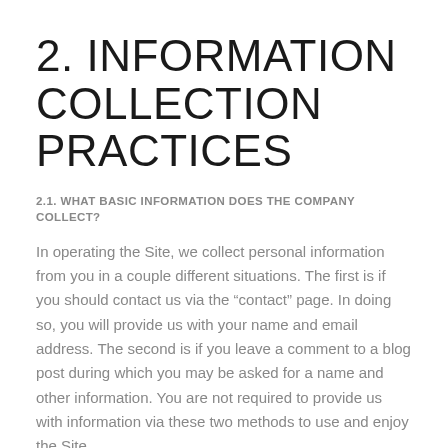2. INFORMATION COLLECTION PRACTICES
2.1. WHAT BASIC INFORMATION DOES THE COMPANY COLLECT?
In operating the Site, we collect personal information from you in a couple different situations. The first is if you should contact us via the “contact” page. In doing so, you will provide us with your name and email address. The second is if you leave a comment to a blog post during which you may be asked for a name and other information. You are not required to provide us with information via these two methods to use and enjoy the Site.